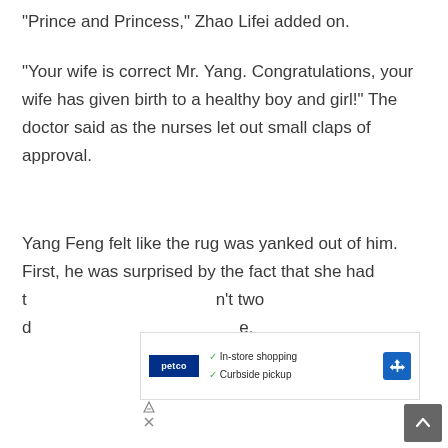"Prince and Princess," Zhao Lifei added on.
"Your wife is correct Mr. Yang. Congratulations, your wife has given birth to a healthy boy and girl!" The doctor said as the nurses let out small claps of approval.
Yang Feng felt like the rug was yanked out of him. First, he was surprised by the fact that she had t[obscured]'t two d[obscured]e.
[Figure (screenshot): Advertisement overlay showing Petco logo with 'In-store shopping' and 'Curbside pickup' checkmarks, a blue navigation arrow icon, and close/dismiss buttons.]